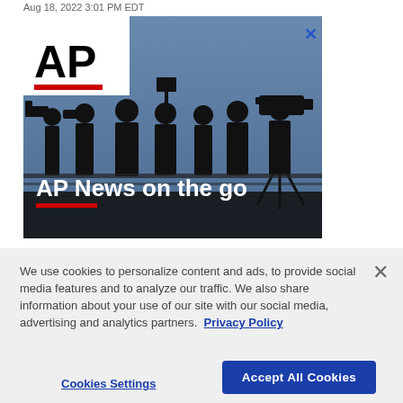Aug 18, 2022 3:01 PM EDT
[Figure (photo): AP News advertisement showing silhouettes of news cameramen/photographers against a blue sky. Top-left white box contains the AP logo in bold black text with a red bar beneath. Bottom-left overlay text reads 'AP News on the go' in white bold font with a red underline bar. A blue X close button is in the top-right corner.]
We use cookies to personalize content and ads, to provide social media features and to analyze our traffic. We also share information about your use of our site with our social media, advertising and analytics partners.  Privacy Policy
Cookies Settings
Accept All Cookies